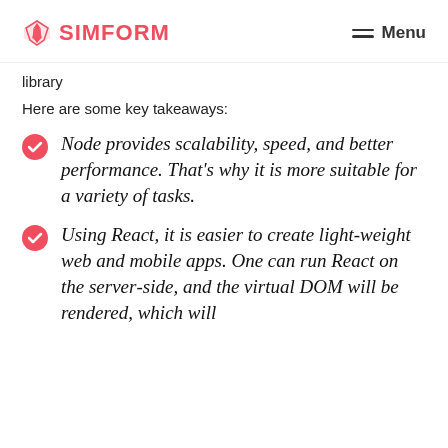SIMFORM  Menu
library
Here are some key takeaways:
Node provides scalability, speed, and better performance. That's why it is more suitable for a variety of tasks.
Using React, it is easier to create lightweight web and mobile apps. One can run React on the server-side, and the virtual DOM will be rendered, which will